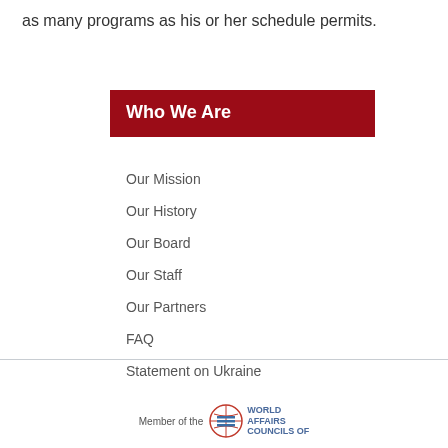as many programs as his or her schedule permits.
Who We Are
Our Mission
Our History
Our Board
Our Staff
Our Partners
FAQ
Statement on Ukraine
Member of the WORLD AFFAIRS COUNCILS of